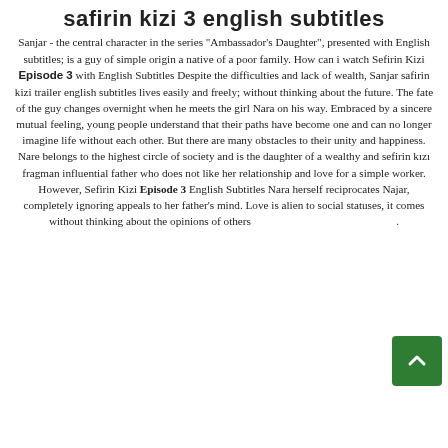safirin kizi 3 english subtitles
Sanjar - the central character in the series "Ambassador's Daughter", presented with English subtitles; is a guy of simple origin a native of a poor family. How can i watch Sefirin Kizi Episode 3 with English Subtitles Despite the difficulties and lack of wealth, Sanjar safirin kizi trailer english subtitles lives easily and freely; without thinking about the future. The fate of the guy changes overnight when he meets the girl Nara on his way. Embraced by a sincere mutual feeling, young people understand that their paths have become one and can no longer imagine life without each other. But there are many obstacles to their unity and happiness. Nare belongs to the highest circle of society and is the daughter of a wealthy and sefirin kızı fragman influential father who does not like her relationship and love for a simple worker. However, Sefirin Kizi Episode 3 English Subtitles Nara herself reciprocates Najar, completely ignoring appeals to her father's mind. Love is alien to social statuses, it comes without thinking about the opinions of others .